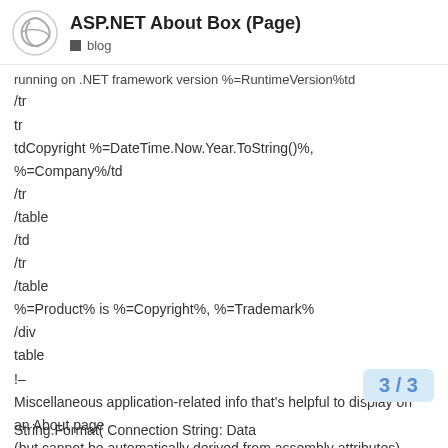ASP.NET About Box (Page) | blog
running on .NET framework version %=RuntimeVersion%td
/tr
tr
tdCopyright %=DateTime.Now.Year.ToString()%, %=Company%/td
/tr
/table
/td
/tr
/table
%=Product% is %=Copyright%, %=Trademark%
/div
table
!–
Miscellaneous application-related info that's helpful to display on an About page
(but cannot be automatically derived from assembly attributes)
–
%
String.Format( Connection String: Data...